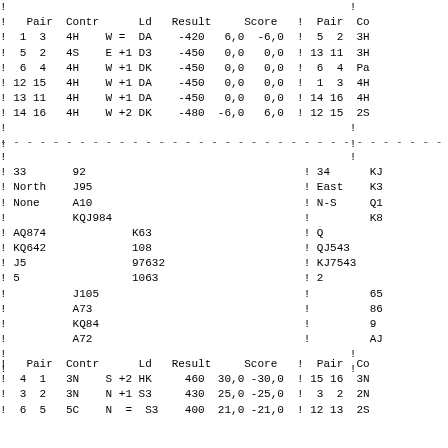| ! | Pair | Contr |  | Ld | Result | Score | ! | Pair | Co |
| --- | --- | --- | --- | --- | --- | --- | --- | --- | --- |
| ! | Pair | Contr |  | Ld | Result | Score | ! | Pair | Co |
| ! | 1  3 | 4H | W = DA |  | -420 | 6,0  -6,0 | ! | 5  2 | 3H |
| ! | 5  2 | 4S | E +1 D3 |  | -450 | 0,0   0,0 | ! | 13 11 | 3H |
| ! | 6  4 | 4H | W +1 DK |  | -450 | 0,0   0,0 | ! | 6  4 | Pa |
| ! | 12 15 | 4H | W +1 DA |  | -450 | 0,0   0,0 | ! | 1  3 | 4H |
| ! | 13 11 | 4H | W +1 DA |  | -450 | 0,0   0,0 | ! | 14 16 | 4H |
| ! | 14 16 | 4H | W +2 DK |  | -480 | -6,0  6,0 | ! | 12 15 | 2S |
| ! | 33 | 92 | ! | 34 | KJ |
| --- | --- | --- | --- | --- | --- |
| ! | 33 | 92 | ! | 34 | KJ |
| ! | North | J95 | ! | East | K3 |
| ! | None | A10 | ! | N-S | Q1 |
| ! |  | KQJ984 | ! |  | K8 |
| ! | AQ874 |  | K63 | ! | Q |  |
| ! | KQ642 |  | 108 | ! | QJ543 |  |
| ! | J5 |  | 97632 | ! | KJ7543 |  |
| ! | 5 |  | 1063 | ! | 2 |  |
| ! |  | J105 |  | ! |  | 65 |
| ! |  | A73 |  | ! |  | 86 |
| ! |  | KQ84 |  | ! |  | 9 |
| ! |  | A72 |  | ! |  | AJ |
| ! | Pair | Contr |  | Ld | Result | Score | ! | Pair | Co |
| --- | --- | --- | --- | --- | --- | --- | --- | --- | --- |
| ! | Pair | Contr |  | Ld | Result | Score | ! | Pair | Co |
| ! | 4  1 | 3N | S +2 HK |  | 460 | 30,0 -30,0 | ! | 15 16 | 3N |
| ! | 3  2 | 3N | N +1 S3 |  | 430 | 25,0 -25,0 | ! | 3  2 | 2N |
| ! | 6  5 | 5C | N  = S3 |  | 400 | 21,0 -21,0 | ! | 12 13 | 2S |